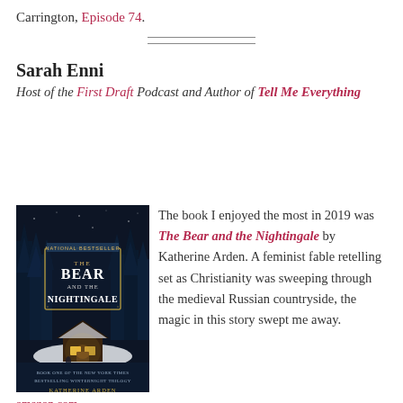Carrington, Episode 74.
[Figure (other): Two horizontal divider lines centered on the page]
Sarah Enni
Host of the First Draft Podcast and Author of Tell Me Everything
[Figure (illustration): Book cover of The Bear and the Nightingale by Katherine Arden, showing a dark winter forest scene with a cabin]
amazon.com
The book I enjoyed the most in 2019 was The Bear and the Nightingale by Katherine Arden. A feminist fable retelling set as Christianity was sweeping through the medieval Russian countryside, the magic in this story swept me away.